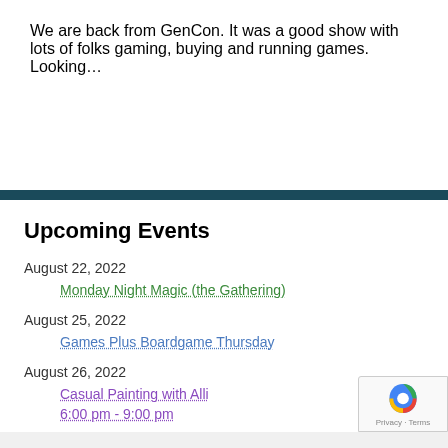We are back from GenCon. It was a good show with lots of folks gaming, buying and running games. Looking…
Upcoming Events
August 22, 2022
Monday Night Magic (the Gathering)
August 25, 2022
Games Plus Boardgame Thursday
August 26, 2022
Casual Painting with Alli
6:00 pm - 9:00 pm